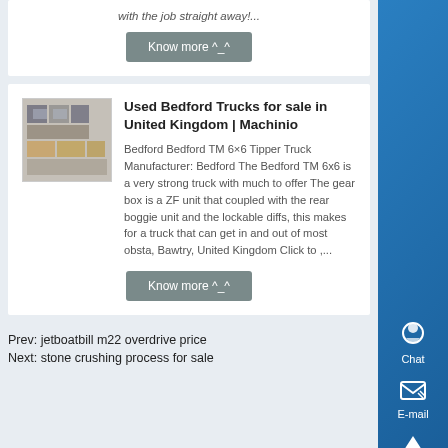with the job straight away!...
Know more ^_^
Used Bedford Trucks for sale in United Kingdom | Machinio
[Figure (photo): Thumbnail photo of Bedford trucks/machinery]
Bedford Bedford TM 6×6 Tipper Truck Manufacturer: Bedford The Bedford TM 6x6 is a very strong truck with much to offer The gear box is a ZF unit that coupled with the rear boggie unit and the lockable diffs, this makes for a truck that can get in and out of most obsta, Bawtry, United Kingdom Click to ,...
Know more ^_^
Prev: jetboatbill m22 overdrive price
Next: stone crushing process for sale